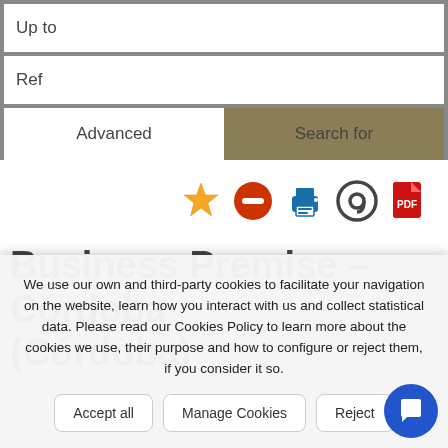Up to
Ref
Advanced
Search for
[Figure (screenshot): Icon toolbar with star, red minus circle, blue printer, at-sign, and red PDF icons]
Business Premise - Córdoba (Córdoba)
We use our own and third-party cookies to facilitate your navigation on the website, learn how you interact with us and collect statistical data. Please read our Cookies Policy to learn more about the cookies we use, their purpose and how to configure or reject them, if you consider it so.
Accept all
Manage Cookies
Reject